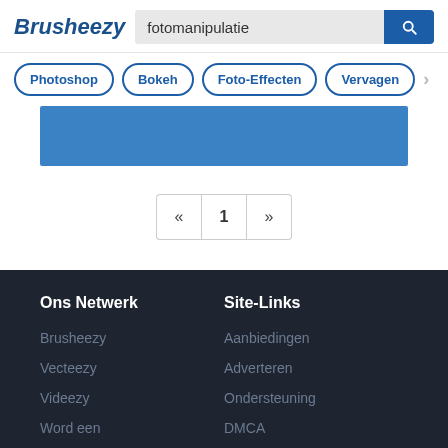Brusheezy
fotomanipulatie
Photoshop
Bokeh
Foto-Effecten
Vervagen
[Figure (other): Blue banner/advertisement bar]
« 1 »
Ons Netwerk
Site-Links
Brusheezy
Aanbiedingen
Vecteezy
Adverteren
Videezy
Ondersteuning
Word een
DMCA